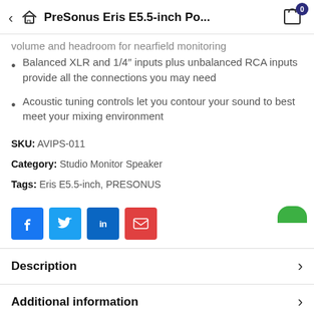PreSonus Eris E5.5-inch Po...
volume and headroom for nearfield monitoring
Balanced XLR and 1/4" inputs plus unbalanced RCA inputs provide all the connections you may need
Acoustic tuning controls let you contour your sound to best meet your mixing environment
SKU: AVIPS-011
Category: Studio Monitor Speaker
Tags: Eris E5.5-inch, PRESONUS
[Figure (infographic): Social share buttons: Facebook, Twitter, LinkedIn, Email]
Description
Additional information